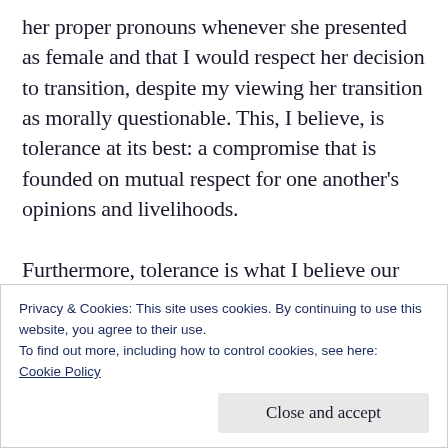her proper pronouns whenever she presented as female and that I would respect her decision to transition, despite my viewing her transition as morally questionable. This, I believe, is tolerance at its best: a compromise that is founded on mutual respect for one another's opinions and livelihoods.

Furthermore, tolerance is what I believe our country is about—people with mutual respect and acceptance for one another who recognize
Privacy & Cookies: This site uses cookies. By continuing to use this website, you agree to their use.
To find out more, including how to control cookies, see here:
Cookie Policy

Close and accept